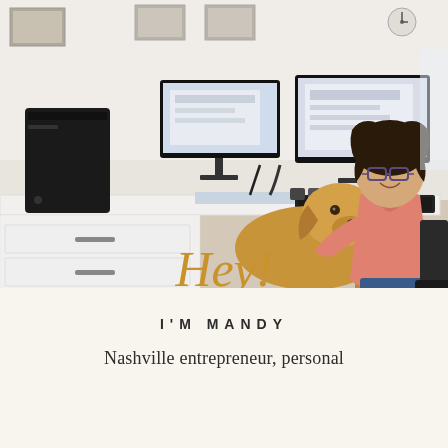[Figure (photo): Woman with curly dark hair and glasses sitting at a white desk with dual computer monitors and a black desktop PC, hugging a golden retriever dog. Office setting with white walls and framed art in background.]
Hey!
I'M MANDY
Nashville entrepreneur, personal